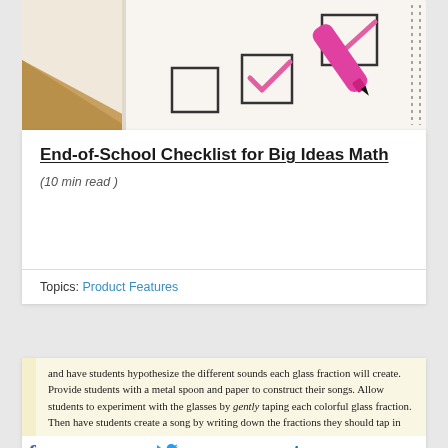[Figure (photo): Photo of a checklist on paper with pink checkmarks being made by a pink marker, with a wooden clipboard corner visible]
End-of-School Checklist for Big Ideas Math
(10 min read )
Topics: Product Features
and have students hypothesize the different sounds each glass fraction will create. Provide students with a metal spoon and paper to construct their songs. Allow students to experiment with the glasses by gently taping each colorful glass fraction. Then have students create a song by writing down the fractions they should tap in order.
ension: Challenge group... write the fraction melo... Row, Row, Row Your Boa...